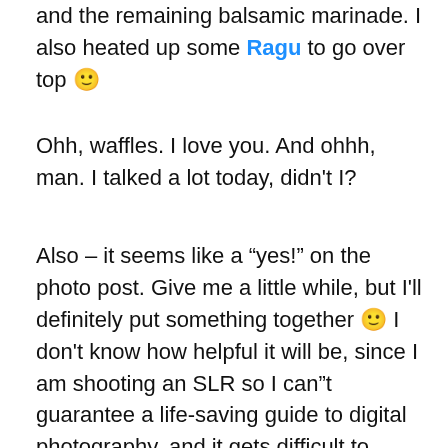and the remaining balsamic marinade. I also heated up some Ragu to go over top 🙂
Ohh, waffles. I love you. And ohhh, man. I talked a lot today, didn't I?
Also – it seems like a “yes!” on the photo post. Give me a little while, but I'll definitely put something together 🙂 I don't know how helpful it will be, since I am shooting an SLR so I can“t guarantee a life-saving guide to digital photography, and it gets difficult to explain manual operation of a point and shoot camera since they tend to differ – but I can at least give pointers for composition, what helps to get the best results, and if anyone is looking into purchasing an SLR, maybe I can show you that you don't need the biggest, most expensive camera out there. My little beaten-on D40 does a lovely job when